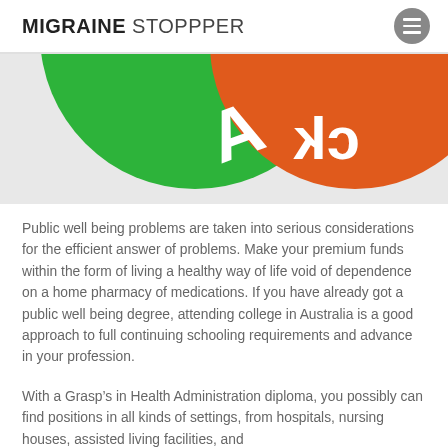MIGRAINE STOPPPER
[Figure (illustration): Partial view of two overlapping circular icons: a green one and an orange one with partial white text visible, cropped at top of page]
Public well being problems are taken into serious considerations for the efficient answer of problems. Make your premium funds within the form of living a healthy way of life void of dependence on a home pharmacy of medications. If you have already got a public well being degree, attending college in Australia is a good approach to full continuing schooling requirements and advance in your profession.
With a Grasp’s in Health Administration diploma, you possibly can find positions in all kinds of settings, from hospitals, nursing houses, assisted living facilities, and